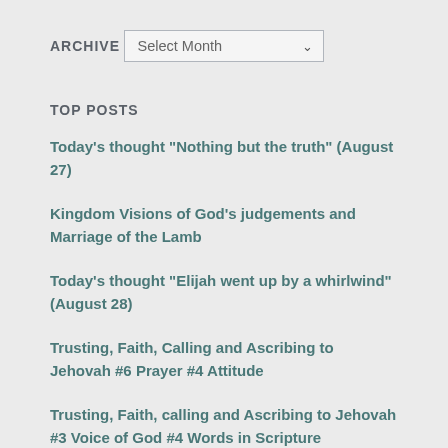ARCHIVE
Select Month
TOP POSTS
Today's thought "Nothing but the truth" (August 27)
Kingdom Visions of God's judgements and Marriage of the Lamb
Today's thought "Elijah went up by a whirlwind" (August 28)
Trusting, Faith, Calling and Ascribing to Jehovah #6 Prayer #4 Attitude
Trusting, Faith, calling and Ascribing to Jehovah #3 Voice of God #4 Words in Scripture